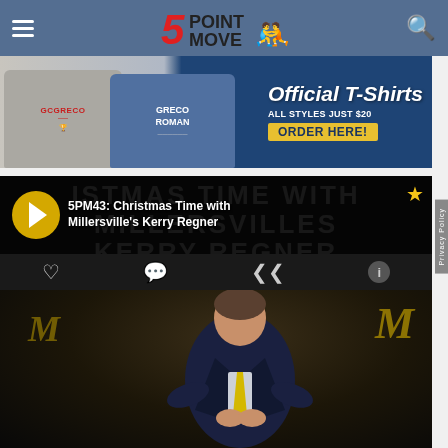5POINT MOVE (navigation bar with hamburger menu and search icon)
[Figure (photo): Advertisement banner for 5PointMove Official T-Shirts. Shows GCGreco and Greco Roman branded t-shirts (gray and blue). Text reads: Official T-Shirts, ALL STYLES JUST $20, ORDER HERE!]
[Figure (screenshot): Video player showing episode 5PM43: Christmas Time with Millersville's Kerry Regner. Yellow play button on left, title text overlay. Action bar with heart, comment, share, and info icons. Below is a photo of a man in a dark suit with yellow tie sitting in what appears to be a gymnasium with Millersville M logos visible in background.]